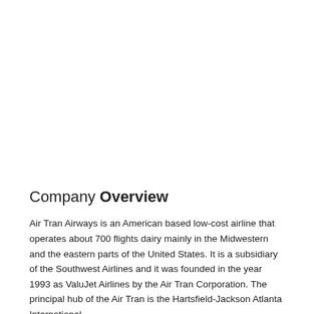Company Overview
Air Tran Airways is an American based low-cost airline that operates about 700 flights dairy mainly in the Midwestern and the eastern parts of the United States. It is a subsidiary of the Southwest Airlines and it was founded in the year 1993 as ValuJet Airlines by the Air Tran Corporation. The principal hub of the Air Tran is the Hartsfield-Jackson Atlanta International